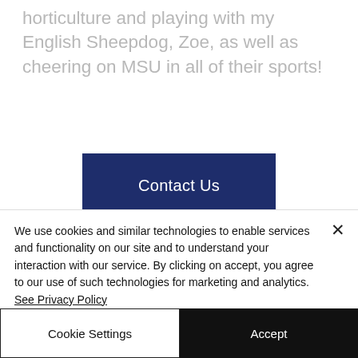horticulture and playing with my English Sheepdog, Zoe, as well as cheering on MSU in all of their sports!
Contact Us
© 2020 by Active Home Medical Supply
655-A McCormick Dr, Lapeer, MI 48446
1-810-667-6962
We use cookies and similar technologies to enable services and functionality on our site and to understand your interaction with our service. By clicking on accept, you agree to our use of such technologies for marketing and analytics. See Privacy Policy
Cookie Settings
Accept